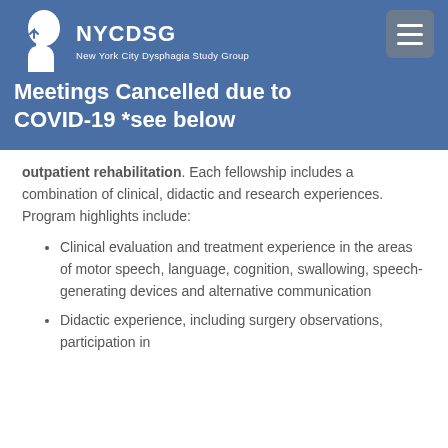NYCDSG New York City Dysphagia Study Group
Meetings Cancelled due to COVID-19 *see below
outpatient rehabilitation. Each fellowship includes a combination of clinical, didactic and research experiences. Program highlights include:
Clinical evaluation and treatment experience in the areas of motor speech, language, cognition, swallowing, speech-generating devices and alternative communication
Didactic experience, including surgery observations, participation in